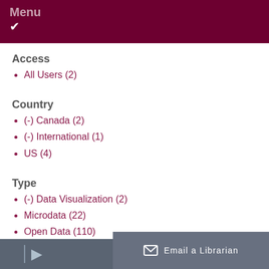Menu ✓
Access
All Users (2)
Country
(-) Canada (2)
(-) International (1)
US (4)
Type
(-) Data Visualization (2)
Microdata (22)
Open Data (110)
Statistics (109)
Email a Librarian